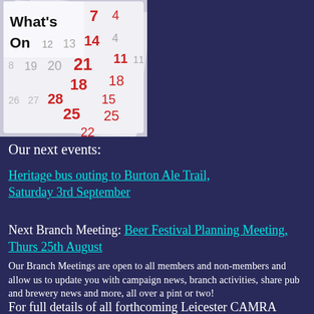[Figure (photo): Curling calendar pages showing dates and numbers in red and black, with 'What's On' text in bold black on white background]
Our next events:
Heritage bus outing to Burton Ale Trail, Saturday 3rd September
Next Branch Meeting: Beer Festival Planning Meeting, Thurs 25th August
Our Branch Meetings are open to all members and non-members and allow us to update you with campaign news, branch activities, share pub and brewery news and more, all over a pint or two!
For full details of all forthcoming Leicester CAMRA